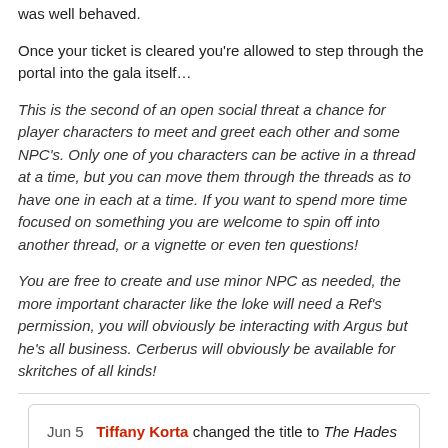was well behaved.
Once your ticket is cleared you're allowed to step through the portal into the gala itself…
This is the second of an open social threat a chance for player characters to meet and greet each other and some NPC's. Only one of you characters can be active in a thread at a time, but you can move them through the threads as to have one in each at a time. If you want to spend more time focused on something you are welcome to spin off into another thread, or a vignette or even ten questions!
You are free to create and use minor NPC as needed, the more important character like the loke will need a Ref's permission, you will obviously be interacting with Argus but he's all business. Cerberus will obviously be available for skritches of all kinds!
Jun 5  Tiffany Korta changed the title to The Hades Gala, arrival